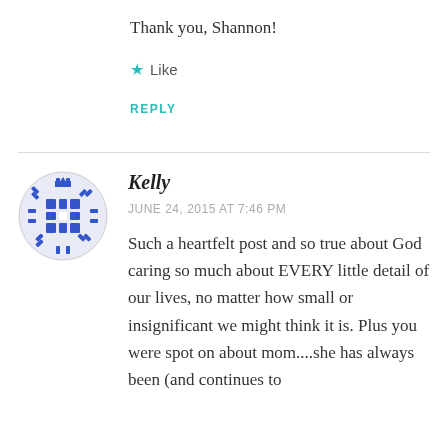Thank you, Shannon!
★ Like
REPLY
Kelly
JUNE 24, 2015 AT 7:46 PM
Such a heartfelt post and so true about God caring so much about EVERY little detail of our lives, no matter how small or insignificant we might think it is. Plus you were spot on about mom....she has always been (and continues to